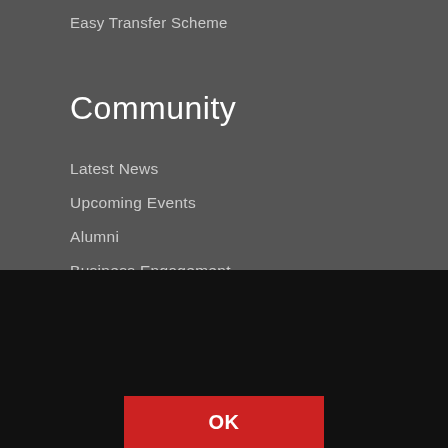Easy Transfer Scheme
Community
Latest News
Upcoming Events
Alumni
Business Engagement
Activities for Schools and Colleges
Our website uses cookies to enhance your experience. By continuing to browse the site you are agreeing to our use of cookies. You can find out more and control your Cookie settings on our Cookie Policy page.
OK